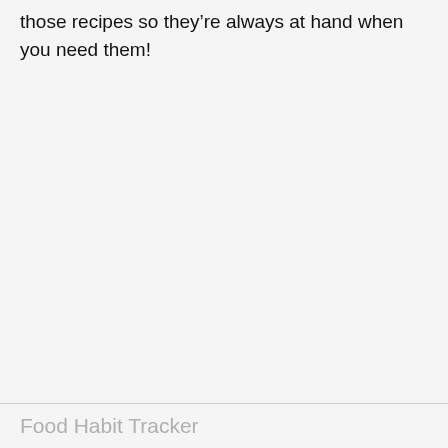those recipes so they're always at hand when you need them!
Food Habit Tracker